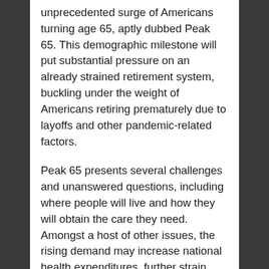unprecedented surge of Americans turning age 65, aptly dubbed Peak 65. This demographic milestone will put substantial pressure on an already strained retirement system, buckling under the weight of Americans retiring prematurely due to layoffs and other pandemic-related factors.
Peak 65 presents several challenges and unanswered questions, including where people will live and how they will obtain the care they need. Amongst a host of other issues, the rising demand may increase national health expenditures, further strain Social Security and stretch the healthcare workforce thin.